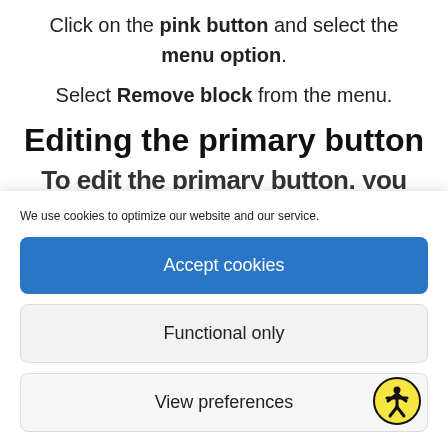Click on the pink button and select the menu option.
Select Remove block from the menu.
Editing the primary button
To edit the primary button, you need to click...
We use cookies to optimize our website and our service.
Accept cookies
Functional only
View preferences